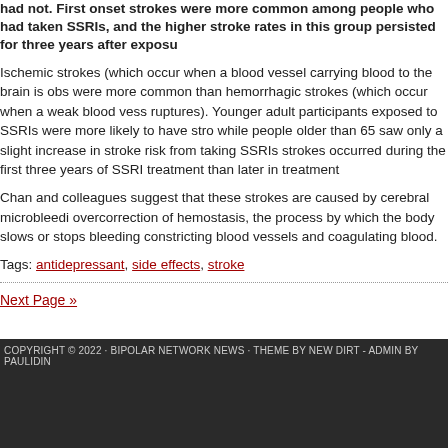had not. First onset strokes were more common among people who had taken SSRIs, and the higher stroke rates in this group persisted for three years after exposure.
Ischemic strokes (which occur when a blood vessel carrying blood to the brain is obstructed) were more common than hemorrhagic strokes (which occur when a weak blood vessel ruptures). Younger adult participants exposed to SSRIs were more likely to have strokes, while people older than 65 saw only a slight increase in stroke risk from taking SSRIs. More strokes occurred during the first three years of SSRI treatment than later in treatment.
Chan and colleagues suggest that these strokes are caused by cerebral microbleeding from overcorrection of hemostasis, the process by which the body slows or stops bleeding by constricting blood vessels and coagulating blood.
Tags: antidepressant, side effects, stroke
Next Page »
COPYRIGHT © 2022 · BIPOLAR NETWORK NEWS · THEME BY NEW DIRT - ADMIN BY PAULIDING